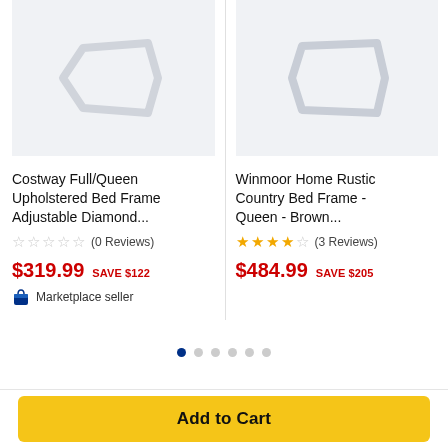[Figure (photo): Product image placeholder for Costway Full/Queen Upholstered Bed Frame]
[Figure (photo): Product image placeholder for Winmoor Home Rustic Country Bed Frame]
Costway Full/Queen Upholstered Bed Frame Adjustable Diamond...
☆☆☆☆☆ (0 Reviews)
$319.99  SAVE $122
🛍 Marketplace seller
Winmoor Home Rustic Country Bed Frame - Queen - Brown...
★★★★☆ (3 Reviews)
$484.99  SAVE $205
Add to Cart